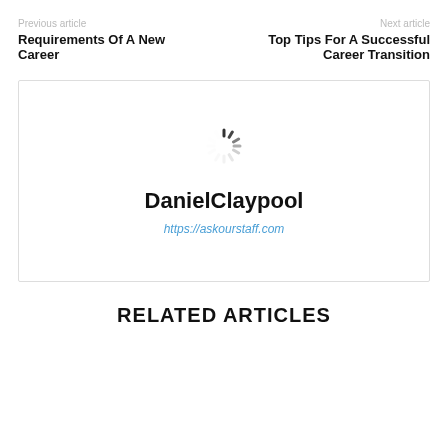Previous article
Requirements Of A New Career
Next article
Top Tips For A Successful Career Transition
[Figure (other): Author avatar placeholder with loading spinner]
DanielClaypool
https://askourstaff.com
RELATED ARTICLES